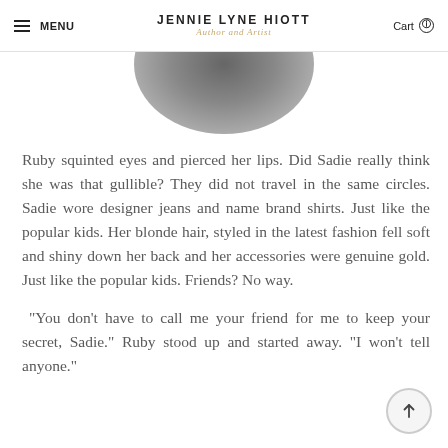MENU | JENNIE LYNE HIOTT Author and Artist | Cart
[Figure (photo): Partial view of a dark circular object (bowl or hat) cropped at the top of the content area, dark gray gradient]
Ruby squinted eyes and pierced her lips. Did Sadie really think she was that gullible? They did not travel in the same circles. Sadie wore designer jeans and name brand shirts. Just like the popular kids. Her blonde hair, styled in the latest fashion fell soft and shiny down her back and her accessories were genuine gold. Just like the popular kids. Friends? No way.
“You don’t have to call me your friend for me to keep your secret, Sadie.” Ruby stood up and started away. “I won’t tell anyone.”